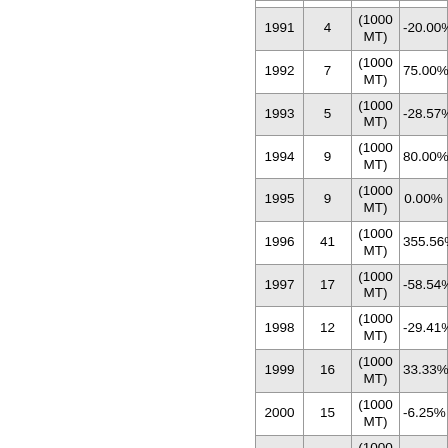| Year | Value | Unit | Change |
| --- | --- | --- | --- |
| 1991 | 4 | (1000 MT) | -20.00% |
| 1992 | 7 | (1000 MT) | 75.00% |
| 1993 | 5 | (1000 MT) | -28.57% |
| 1994 | 9 | (1000 MT) | 80.00% |
| 1995 | 9 | (1000 MT) | 0.00% |
| 1996 | 41 | (1000 MT) | 355.56% |
| 1997 | 17 | (1000 MT) | -58.54% |
| 1998 | 12 | (1000 MT) | -29.41% |
| 1999 | 16 | (1000 MT) | 33.33% |
| 2000 | 15 | (1000 MT) | -6.25% |
| 2001 | 14 | (1000 MT) | -6.67% |